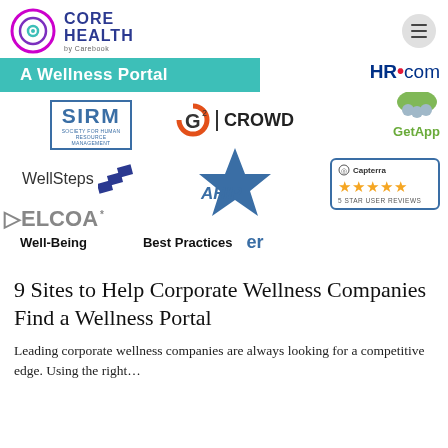[Figure (logo): Core Health by Carebook logo with circular icon and hamburger menu button in top right]
[Figure (infographic): Collage of partner/recognition logos: A Wellness Portal teal banner, HR.com, SIRM, G2 Crowd, GetApp, WellSteps, AHIP, Capterra 5 star reviews, partial logos, with navigation labels Well-Being, Best Practices, er]
9 Sites to Help Corporate Wellness Companies Find a Wellness Portal
Leading corporate wellness companies are always looking for a competitive edge. Using the right…